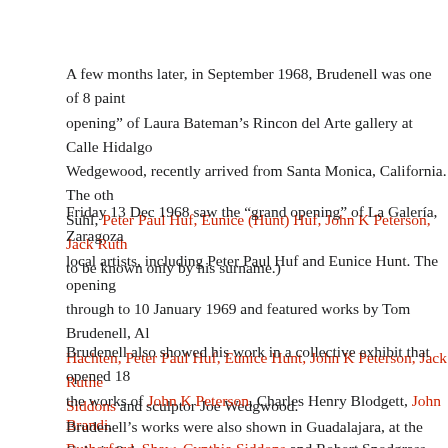A few months later, in September 1968, Brudenell was one of 8 painters at the "soft opening" of Laura Bateman's Rincon del Arte gallery at Calle Hidalgo ... Wedgewood, recently arrived from Santa Monica, California. The other painters were ... Suhl, Peter Paul Huf, Eunice (Hunt) Huf, John K Peterson, Jack Ruth... to be known only by his surname.)
Friday 13 Dec 1968 saw the “grand opening” of La Galería, Zaragoza... local artists, including Peter Paul Huf and Eunice Hunt. The opening... through to 10 January 1969 and featured works by Tom Brudenell, Al... Hachten, Peter Paul Huf, Eunice Hunt, John K Peterson, Jack Ruthe... Siddons and sculptor Joe Wedgwood.
Brudenell also showed his work in a collective exhibit that opened 18... the works of John K Peterson, Charles Henry Blodgett, John Brandi,... Rutherford, Shaw, Cynthia Siddons and Robert Snodgrass.
Brudenell's works were also shown in Guadalajara, at the Galeria 8 d... city, a brawl erupted when a friend of Brudenell's, visiting from Oakla... discourteous act towards his girlfriend. The provocateur, who had no...